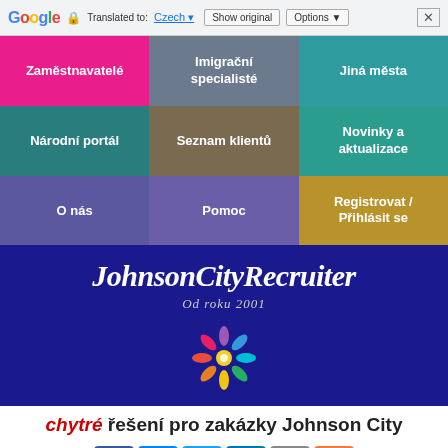Google Translate bar — Translated to: Czech | Show original | Options | X
[Figure (screenshot): Navigation grid with 9 colored cells: Zaměstnavatelé (pink), Imigrační specialisté (slate), Jiná města (teal), Národní portál (dark teal), Seznam klientů (brown), Novinky a aktualizace (teal), O nás (purple), Pomoc (purple), Registrovat / Přihlásit se (gold)]
[Figure (logo): JohnsonCityRecruiter banner on dark blue background with italic bold white text, subtitle 'Od roku 2001', and colorful flower/people logo SVG]
chytré řešení pro zakázky Johnson City
[Figure (infographic): Social share buttons: Facebook (blue), Messenger (light blue), Twitter (blue), LinkedIn (blue), Email (gray), Plus (orange)]